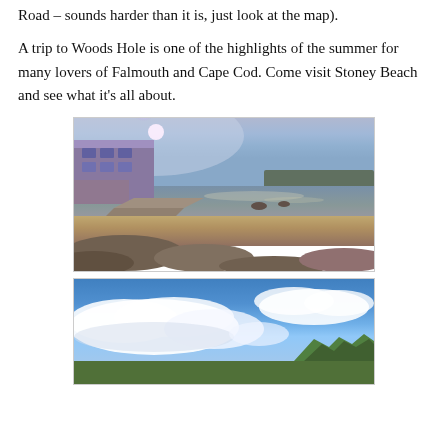Road – sounds harder than it is, just look at the map).
A trip to Woods Hole is one of the highlights of the summer for many lovers of Falmouth and Cape Cod. Come visit Stoney Beach and see what it’s all about.
[Figure (photo): Photo of Stoney Beach in Woods Hole showing rocky shoreline with large stones in foreground, a stone seawall/pier extending into calm water, a large multi-story building on the left, and blue sky with a bright sun lens flare in upper left.]
[Figure (photo): Photo of sky over Falmouth/Cape Cod area showing blue sky with large white cumulus clouds, and green treetops visible at the bottom right corner.]